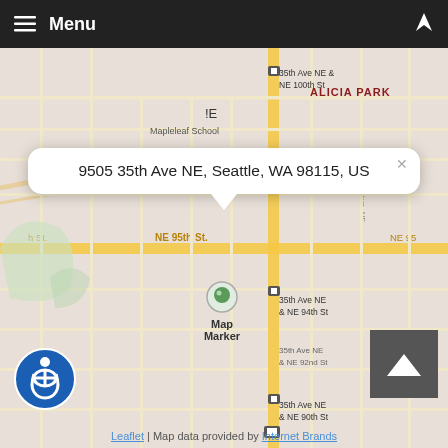≡ Menu
[Figure (map): Street map of the Maple Leaf / Alicia Park neighborhood in Seattle, WA, showing NE 95th St, NE 94th St, NE 92nd St, NE 90th St, and 35th Ave NE. Bus stop icons visible at 35th Ave NE & NE 100th St, 35th Ave NE & NE 94th St, 35th Ave NE & NE 90th St. Map marker placed near 35th Ave NE and NE 95th St area. Leaflet map with data from Internet Brands.]
9505 35th Ave NE, Seattle, WA 98115, US
Map Marker
Leaflet | Map data provided by Internet Brands